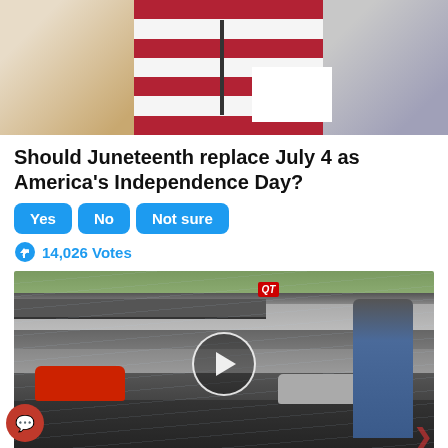[Figure (photo): Two people standing in front of an American flag at a podium with a microphone]
Should Juneteenth replace July 4 as America's Independence Day?
Yes
No
Not sure
14,026 Votes
[Figure (photo): Video thumbnail of a QuikTrip gas station parking lot with a red car, silver car, and a person standing next to a car door. Play button overlay visible.]
Why You Need This Strange Device When